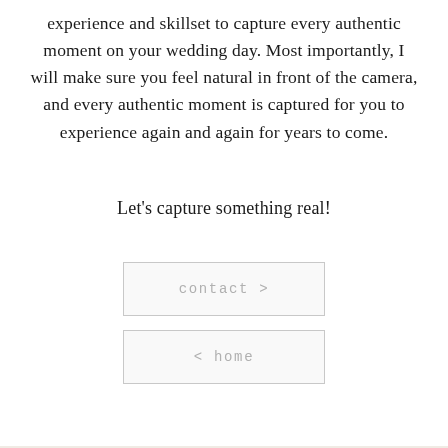experience and skillset to capture every authentic moment on your wedding day. Most importantly, I will make sure you feel natural in front of the camera, and every authentic moment is captured for you to experience again and again for years to come.
Let's capture something real!
contact >
< home